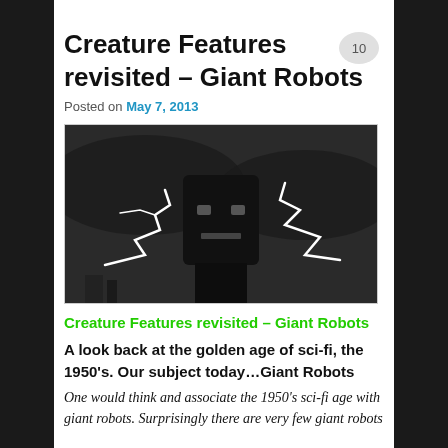Creature Features revisited – Giant Robots
Posted on May 7, 2013
[Figure (photo): Black and white photo of a giant robot head with lightning bolts striking around it]
Creature Features revisited – Giant Robots
A look back at the golden age of sci-fi, the 1950's. Our subject today…Giant Robots
One would think and associate the 1950's sci-fi age with giant robots. Surprisingly there are very few giant robots